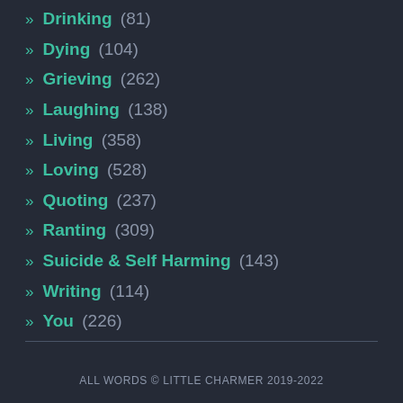» Drinking (81)
» Dying (104)
» Grieving (262)
» Laughing (138)
» Living (358)
» Loving (528)
» Quoting (237)
» Ranting (309)
» Suicide & Self Harming (143)
» Writing (114)
» You (226)
ALL WORDS © LITTLE CHARMER 2019-2022